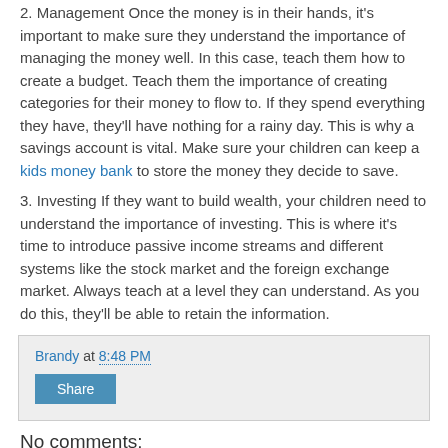2. Management Once the money is in their hands, it's important to make sure they understand the importance of managing the money well. In this case, teach them how to create a budget. Teach them the importance of creating categories for their money to flow to. If they spend everything they have, they'll have nothing for a rainy day. This is why a savings account is vital. Make sure your children can keep a kids money bank to store the money they decide to save.
3. Investing If they want to build wealth, your children need to understand the importance of investing. This is where it's time to introduce passive income streams and different systems like the stock market and the foreign exchange market. Always teach at a level they can understand. As you do this, they'll be able to retain the information.
Brandy at 8:48 PM
Share
No comments: